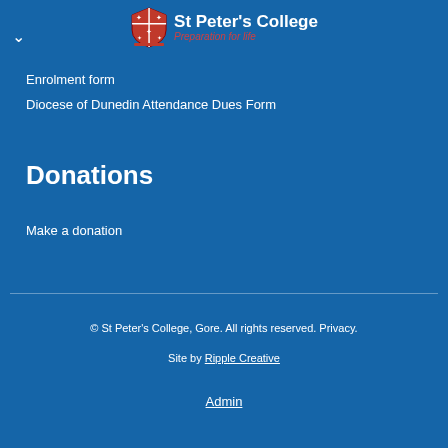St Peter's College — Preparation for life
Enrolment form
Diocese of Dunedin Attendance Dues Form
Donations
Make a donation
© St Peter's College, Gore. All rights reserved. Privacy.
Site by Ripple Creative
Admin